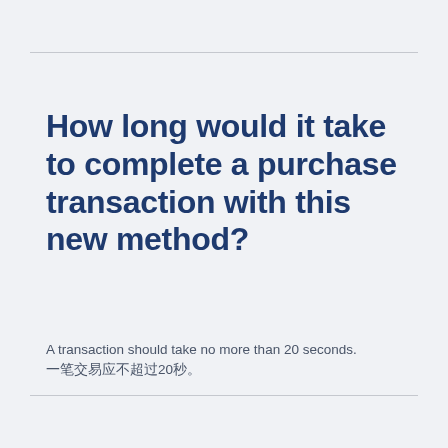How long would it take to complete a purchase transaction with this new method?
A transaction should take no more than 20 seconds.
一笔交易应不超过20秒。